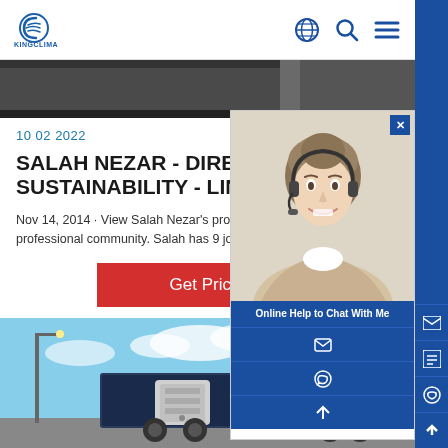KINGCLIMA — navigation header with logo, globe icon, search icon, menu icon
[Figure (photo): Hero banner strip — dark gray/black image at top below header]
[Figure (photo): Chat popup overlay showing woman with headset smiling, with 'Online Help to Chat With Me' label and sidebar icons]
10 02 2022
SALAH NEZAR - DIRECTOR OF SUSTAINABILITY - LINKEDIN
Nov 14, 2014 · View Salah Nezar's profile on largest professional community. Salah has 9 jobs listed on th
[Figure (other): Red 'Get Price' button]
[Figure (photo): Bottom truck/refrigeration unit photograph with blue sky background]